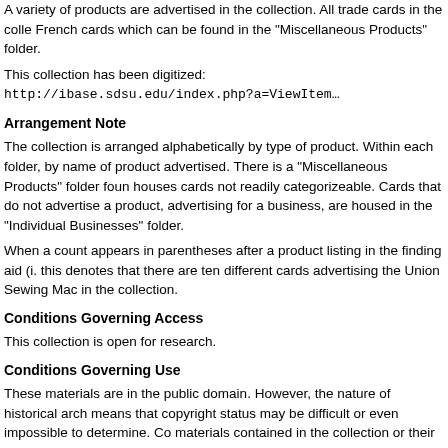A variety of products are advertised in the collection. All trade cards in the collection are French cards which can be found in the "Miscellaneous Products" folder.
This collection has been digitized: http://ibase.sdsu.edu/index.php?a=ViewItem...
Arrangement Note
The collection is arranged alphabetically by type of product. Within each folder, by name of product advertised. There is a "Miscellaneous Products" folder found houses cards not readily categorizeable. Cards that do not advertise a product, advertising for a business, are housed in the "Individual Businesses" folder.
When a count appears in parentheses after a product listing in the finding aid (i. this denotes that there are ten different cards advertising the Union Sewing Machine in the collection.
Conditions Governing Access
This collection is open for research.
Conditions Governing Use
These materials are in the public domain. However, the nature of historical archives means that copyright status may be difficult or even impossible to determine. Co materials contained in the collection or their heirs. Requests for permission to p Head of Special Collections, San Diego State University, Library and Informatio permission is given on behalf of Special Collections as the owner of the physical include or imply permission of the copyright holder(s), which must also be obtai from our collections are made available for use in research, teaching, and priva responsibility for any use of the materials, including but not limited to, infringem rights of reproduced materials.